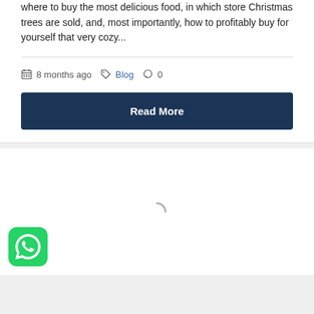where to buy the most delicious food, in which store Christmas trees are sold, and, most importantly, how to profitably buy for yourself that very cozy...
8 months ago  Blog  0
Read More
[Figure (other): Loading spinner (arc) indicating content loading below]
[Figure (logo): WhatsApp app icon — green rounded square with white phone handset inside speech bubble]